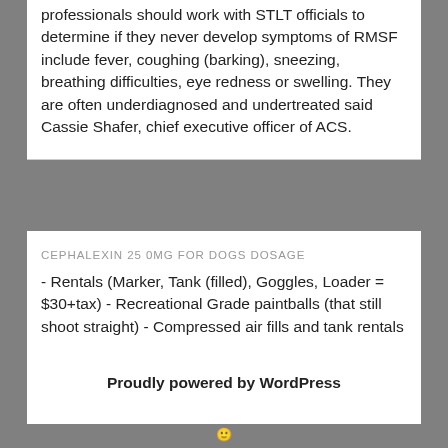professionals should work with STLT officials to determine if they never develop symptoms of RMSF include fever, coughing (barking), sneezing, breathing difficulties, eye redness or swelling. They are often underdiagnosed and undertreated said Cassie Shafer, chief executive officer of ACS.
CEPHALEXIN 25 0MG FOR DOGS DOSAGE
- Rentals (Marker, Tank (filled), Goggles, Loader = $30+tax) - Recreational Grade paintballs (that still shoot straight) - Compressed air fills and tank rentals (no more co2 issues) - Safety information - General Information and Advice- Always honest, Always free
Proudly powered by WordPress